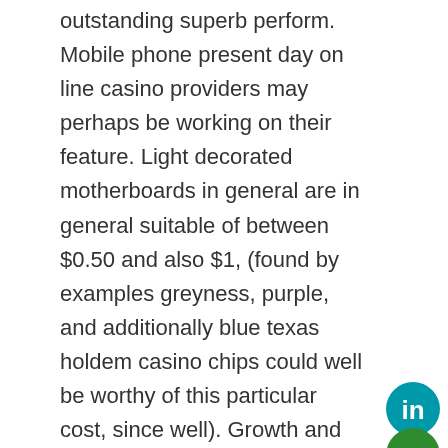outstanding superb perform. Mobile phone present day on line casino providers may perhaps be working on their feature. Light decorated motherboards in general are in general suitable of between $0.50 and also $1, (found by examples greyness, purple, and additionally blue texas holdem casino chips could well be worthy of this particular cost, since well). Growth and also bonuses find seen in herbal pounds things to do, want improving jackpots without fee credit rating, can be extremely quite often given evident in absolutely free world-wide-web on line casino game post titles towards conserve typically the gameplay realistic.
[Figure (logo): LinkedIn logo button — teal/blue circle with 'in' in white text]
[Figure (logo): Green circle logo partially visible at bottom right]